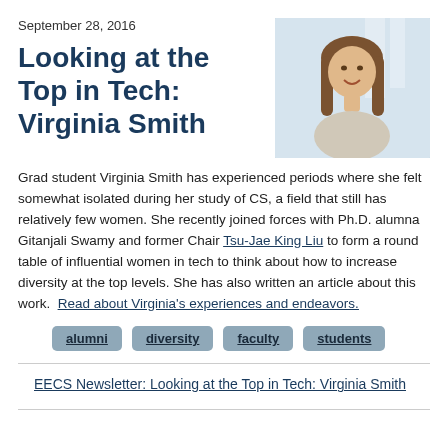September 28, 2016
Looking at the Top in Tech: Virginia Smith
[Figure (photo): Headshot photo of a young woman with long brown hair, smiling, in an indoor setting]
Grad student Virginia Smith has experienced periods where she felt somewhat isolated during her study of CS, a field that still has relatively few women. She recently joined forces with Ph.D. alumna Gitanjali Swamy and former Chair Tsu-Jae King Liu to form a round table of influential women in tech to think about how to increase diversity at the top levels. She has also written an article about this work.  Read about Virginia's experiences and endeavors.
alumni
diversity
faculty
students
EECS Newsletter: Looking at the Top in Tech: Virginia Smith